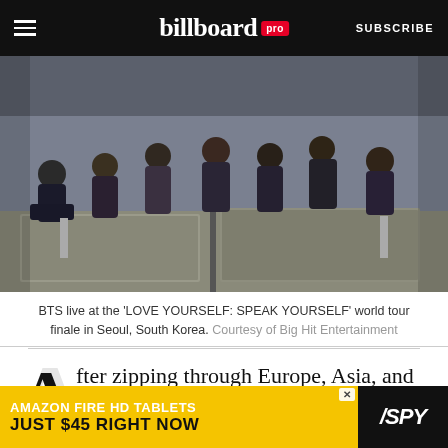billboard pro | SUBSCRIBE
[Figure (photo): BTS group members sitting on stage props during the LOVE YOURSELF: SPEAK YOURSELF world tour finale in Seoul, South Korea]
BTS live at the 'LOVE YOURSELF: SPEAK YOURSELF' world tour finale in Seoul, South Korea. Courtesy of Big Hit Entertainment
After zipping through Europe, Asia, and North and South America in just 20 shows, BTS has wrapped the Love
[Figure (other): Advertisement banner: AMAZON FIRE HD TABLETS JUST $45 RIGHT NOW - SPY]